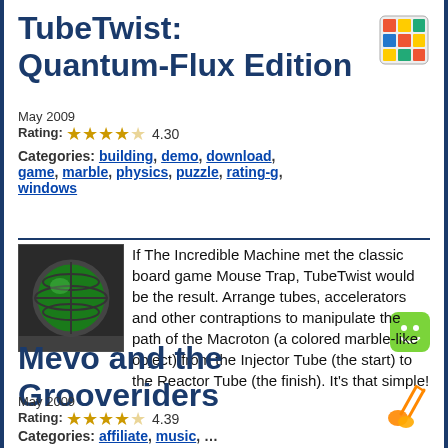TubeTwist: Quantum-Flux Edition
May 2009
Rating: ★★★★☆ 4.30
Categories: building, demo, download, game, marble, physics, puzzle, rating-g, windows
[Figure (photo): Thumbnail image of TubeTwist game showing a green sphere in a tube structure]
If The Incredible Machine met the classic board game Mouse Trap, TubeTwist would be the result. Arrange tubes, accelerators and other contraptions to manipulate the path of the Macroton (a colored marble-like object) from the Injector Tube (the start) to the Reactor Tube (the finish). It's that simple!
Mevo and the Grooveriders
May 2009
Rating: ★★★★☆ 4.39
Categories: affiliate, ...